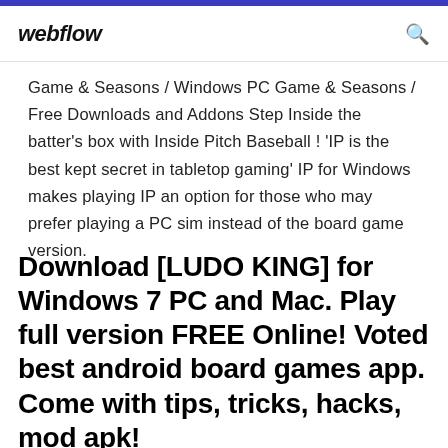webflow
Game & Seasons / Windows PC Game & Seasons / Free Downloads and Addons Step Inside the batter's box with Inside Pitch Baseball ! 'IP is the best kept secret in tabletop gaming' IP for Windows makes playing IP an option for those who may prefer playing a PC sim instead of the board game version.
Download [LUDO KING] for Windows 7 PC and Mac. Play full version FREE Online! Voted best android board games app. Come with tips, tricks, hacks, mod apk!